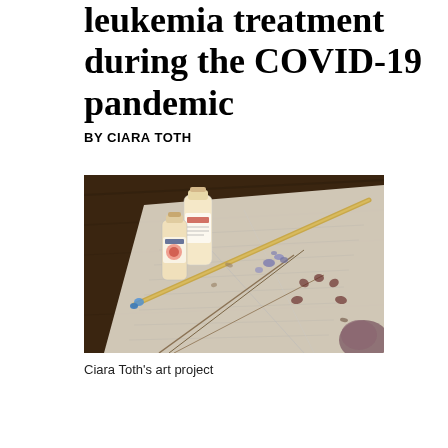leukemia treatment during the COVID-19 pandemic
BY CIARA TOTH
[Figure (photo): A photo of Ciara Toth's art project showing dried flowers and botanical specimens laid out on newspaper, alongside paint bottles and a bamboo paintbrush on a dark wooden surface.]
Ciara Toth's art project